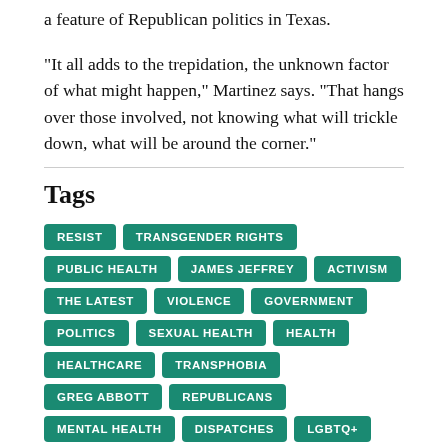a feature of Republican politics in Texas.
“It all adds to the trepidation, the unknown factor of what might happen,” Martinez says. “That hangs over those involved, not knowing what will trickle down, what will be around the corner.”
Tags
RESIST
TRANSGENDER RIGHTS
PUBLIC HEALTH
JAMES JEFFREY
ACTIVISM
THE LATEST
VIOLENCE
GOVERNMENT
POLITICS
SEXUAL HEALTH
HEALTH
HEALTHCARE
TRANSPHOBIA
GREG ABBOTT
REPUBLICANS
MENTAL HEALTH
DISPATCHES
LGBTQ+